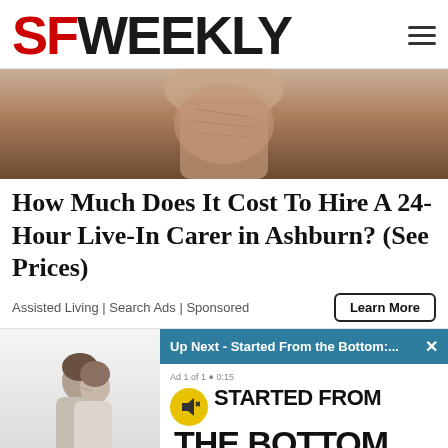SF WEEKLY
[Figure (photo): Close-up photo of an elderly person looking downward]
How Much Does It Cost To Hire A 24-Hour Live-In Carer in Ashburn? (See Prices)
Assisted Living | Search Ads | Sponsored
[Figure (screenshot): Video player overlay showing 'Up Next - Started From the Bottom:...' with video title 'STARTED FROM THE BOTTOM A DRAKE TIMELINE' and a mute button icon]
[Figure (photo): Photo of a young couple standing close together facing each other]